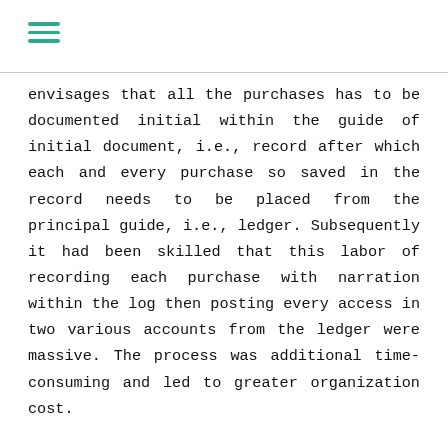≡
envisages that all the purchases has to be documented initial within the guide of initial document, i.e., record after which each and every purchase so saved in the record needs to be placed from the principal guide, i.e., ledger. Subsequently it had been skilled that this labor of recording each purchase with narration within the log then posting every access in two various accounts from the ledger were massive. The process was additional time-consuming and led to greater organization cost.

It is actually but normal that in every single company most of the transactions relate to statements and monthly payments of cash; purchases of merchandise ;. Sales of goods and so on. It was actually located to